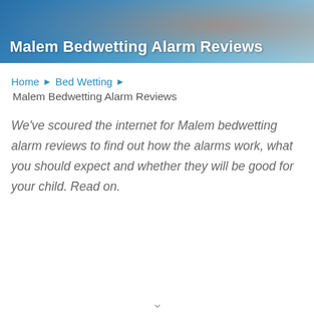[Figure (photo): Header banner image showing hands holding an orange/red alarm device with blue teal background overlay and title text 'Malem Bedwetting Alarm Reviews' in white bold font]
Home ▶ Bed Wetting ▶
Malem Bedwetting Alarm Reviews
We've scoured the internet for Malem bedwetting alarm reviews to find out how the alarms work, what you should expect and whether they will be good for your child. Read on.